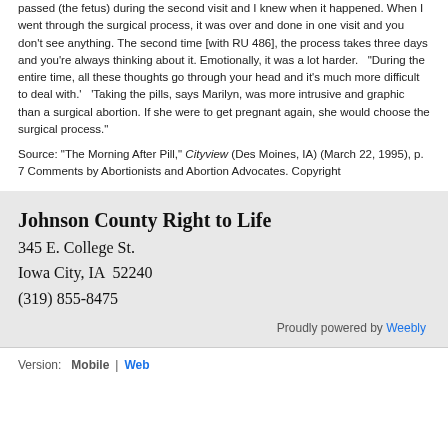passed (the fetus) during the second visit and I knew when it happened. When I went through the surgical process, it was over and done in one visit and you don't see anything. The second time [with RU 486], the process takes three days and you're always thinking about it. Emotionally, it was a lot harder.  "During the entire time, all these thoughts go through your head and it's much more difficult to deal with.'  'Taking the pills, says Marilyn, was more intrusive and graphic than a surgical abortion. If she were to get pregnant again, she would choose the surgical process."
Source: "The Morning After Pill," Cityview (Des Moines, IA) (March 22, 1995), p. 7 Comments by Abortionists and Abortion Advocates. Copyright
Johnson County Right to Life
345 E. College St.
Iowa City, IA  52240
(319) 855-8475
Proudly powered by Weebly
Version:  Mobile | Web